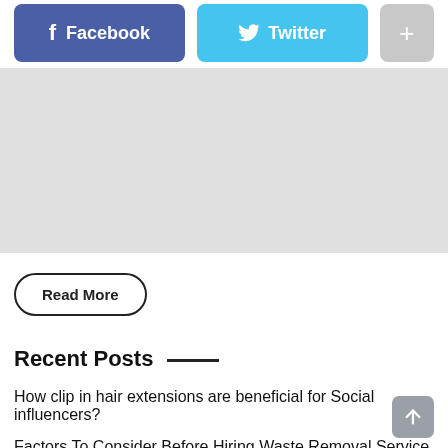[Figure (screenshot): Social share buttons: Facebook (blue-purple), Twitter (light blue), and a plus button (gray)]
[Figure (other): Large gray placeholder/advertisement box]
Read More
Recent Posts
How clip in hair extensions are beneficial for Social influencers?
Factors To Consider Before Hiring Waste Removal Service
Is Treatment Truly Required For Anxiety?